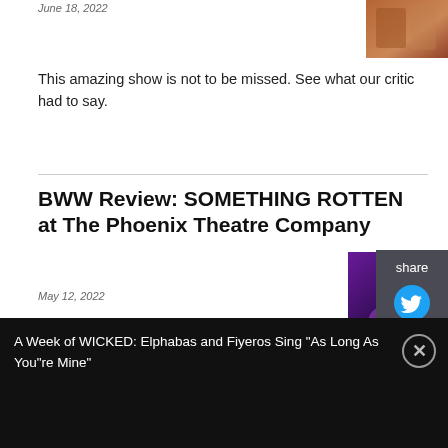June 18, 2022
[Figure (photo): Theater performance photo, warm tones]
This amazing show is not to be missed. See what our critic had to say.
BWW Review: SOMETHING ROTTEN at The Phoenix Theatre Company
May 12, 2022
[Figure (photo): Theater performance photo, purple stage lighting]
Something Rotten! is an homage to musical theater and the great bard, William Shakespeare. Come witness the hilarity, amazing music, and heart felt joy of this fantastic production.
BWW Review: MOJADA: A MEDEA IN
[Figure (photo): Red curtain theater photo]
A Week of WICKED: Elphabas and Fiyeros Sing "As Long As You"re Mine"